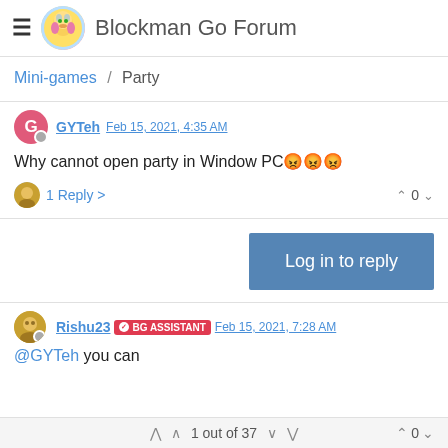Blockman Go Forum
Mini-games / Party
GYTeh Feb 15, 2021, 4:35 AM
Why cannot open party in Window PC 😤😤😤
1 Reply > ∧ 0 ∨
[Figure (other): Log in to reply button]
Rishu23 BG ASSISTANT Feb 15, 2021, 7:28 AM
@GYTeh you can
1 out of 37